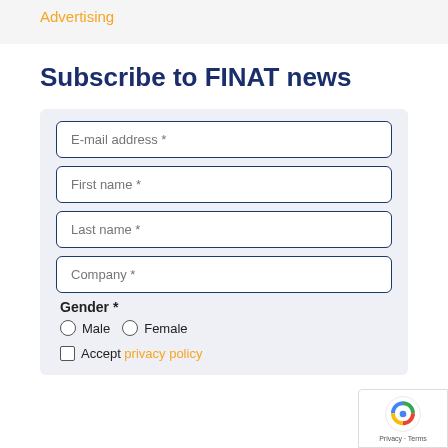Advertising
Subscribe to FINAT news
E-mail address *
First name *
Last name *
Company *
Gender *
Male   Female
Accept privacy policy